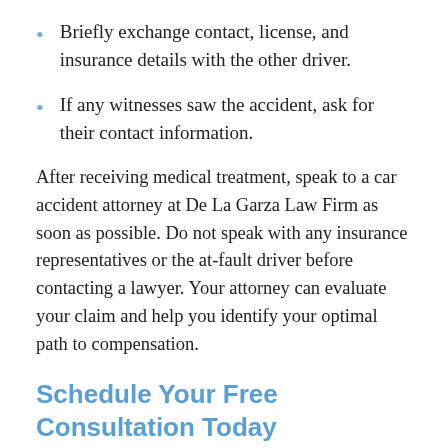Briefly exchange contact, license, and insurance details with the other driver.
If any witnesses saw the accident, ask for their contact information.
After receiving medical treatment, speak to a car accident attorney at De La Garza Law Firm as soon as possible. Do not speak with any insurance representatives or the at-fault driver before contacting a lawyer. Your attorney can evaluate your claim and help you identify your optimal path to compensation.
Schedule Your Free Consultation Today
Were you injured in a car accident in Rio